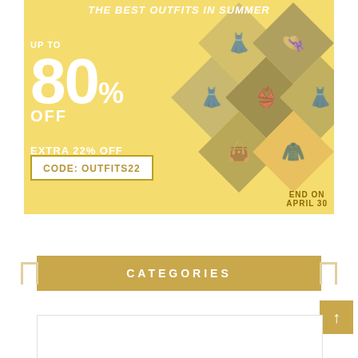[Figure (infographic): Fashion sale advertisement banner with yellow/gold background. Diamond-shaped photo collage on right showing women in summer outfits. Text overlay: 'THE BEST OUTFITS IN SUMMER', 'UP TO', '80%', 'OFF', 'EXTRA 22% OFF', 'CODE: OUTFITS22', 'END ON APRIL 30']
CATEGORIES
[Figure (other): White content box below categories header, partially visible]